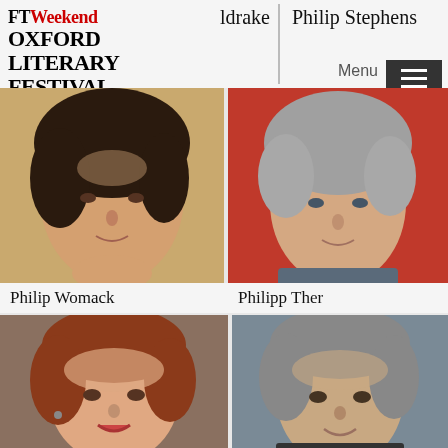[Figure (logo): FT Weekend Oxford Literary Festival logo in top left]
ldrake
Philip Stephens
[Figure (photo): Headshot of Philip Womack, young man with dark curly hair]
Philip Womack
[Figure (photo): Headshot of Philipp Ther, middle-aged man with silver hair against red background]
Philipp Ther
[Figure (photo): Headshot of a woman with curly red hair]
[Figure (photo): Headshot of a man with grey wavy hair]